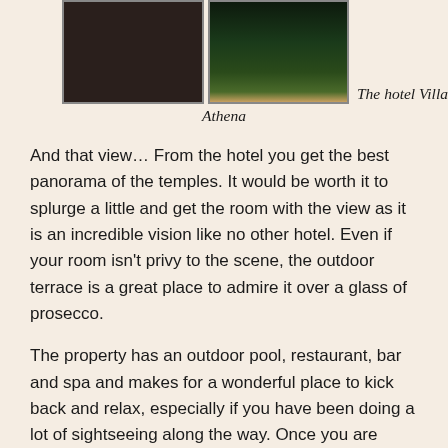[Figure (photo): Two photos side by side of Hotel Villa Athena: left photo shows a dark interior or exterior surface, right photo shows the hotel at night with illuminated grounds and temple in background]
The hotel Villa Athena
And that view… From the hotel you get the best panorama of the temples. It would be worth it to splurge a little and get the room with the view as it is an incredible vision like no other hotel. Even if your room isn't privy to the scene, the outdoor terrace is a great place to admire it over a glass of prosecco.
The property has an outdoor pool, restaurant, bar and spa and makes for a wonderful place to kick back and relax, especially if you have been doing a lot of sightseeing along the way. Once you are ready to explore the archeological site, the hotel desk will give you a key pass to access the hotel's private path to the park. A short walk through groves of olive trees takes